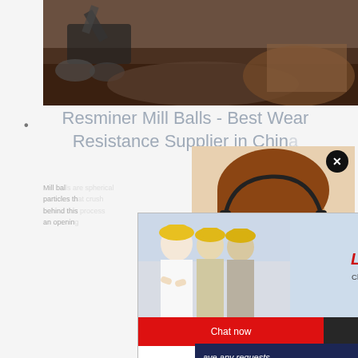[Figure (photo): Top photo: excavation/construction site with heavy machinery and earth mounds]
Resminer Mill Balls - Best Wear Resistance Supplier in China
Mill balls are spherical media used in ball mills to crush particles through impact and friction. The science behind this process involves forcing material through an opening
[Figure (photo): Live Chat popup with construction workers in yellow hard hats, red LIVE CHAT text, consultation button, Chat now and Chat later buttons]
[Figure (photo): Customer service representative with headset smiling, large X close button]
[Figure (screenshot): Dark blue right sidebar panel with italic text 'ave any requests, click here.', orange Quotation button, Enquiry link, and email limingjlmofen@sina.com]
[Figure (photo): Bottom photo: construction site with excavator cranes and demolition debris]